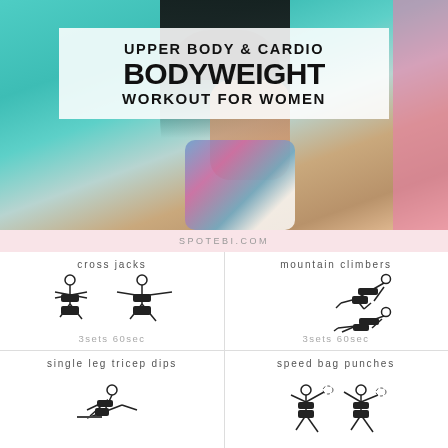[Figure (photo): Woman with dark hair against teal/turquoise background, wearing colorful athletic wear, viewed from the side]
UPPER BODY & CARDIO BODYWEIGHT WORKOUT FOR WOMEN
SPOTEBI.COM
cross jacks
[Figure (illustration): Two line-drawing figures of a woman doing cross jacks exercise]
3sets 60sec
mountain climbers
[Figure (illustration): Two line-drawing figures of a woman doing mountain climbers exercise]
3sets 60sec
single leg tricep dips
[Figure (illustration): Line-drawing figure of a woman doing single leg tricep dips]
speed bag punches
[Figure (illustration): Line-drawing figures of a woman doing speed bag punches]